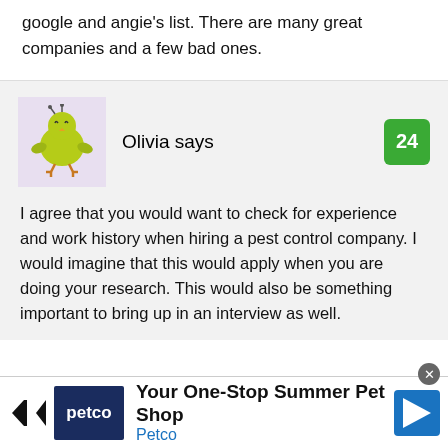google and angie's list. There are many great companies and a few bad ones.
[Figure (illustration): Cartoon avatar of a small yellow-green chick character with antennae, standing upright, on a lavender background]
Olivia says
24
I agree that you would want to check for experience and work history when hiring a pest control company. I would imagine that this would apply when you are doing your research. This would also be something important to bring up in an interview as well.
[Figure (logo): Petco advertisement banner: 'Your One-Stop Summer Pet Shop' with Petco logo and navigation arrow icon]